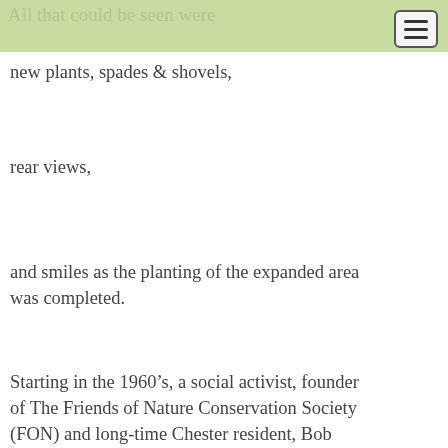All that could be seen were
new plants, spades & shovels,
rear views,
and smiles as the planting of the expanded area was completed.
Starting in the 1960’s, a social activist, founder of The Friends of Nature Conservation Society (FON) and long-time Chester resident, Bob